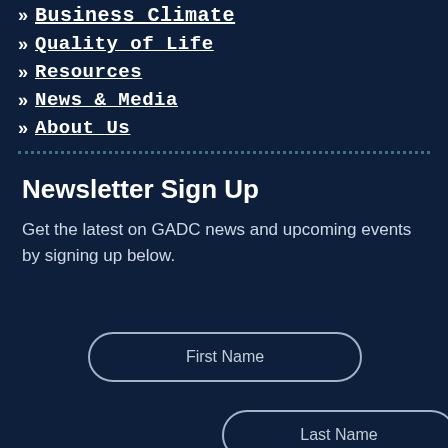>> Business Climate
>> Quality of Life
>> Resources
>> News & Media
>> About Us
Newsletter Sign Up
Get the latest on GADC news and upcoming events by signing up below.
First Name
Last Name